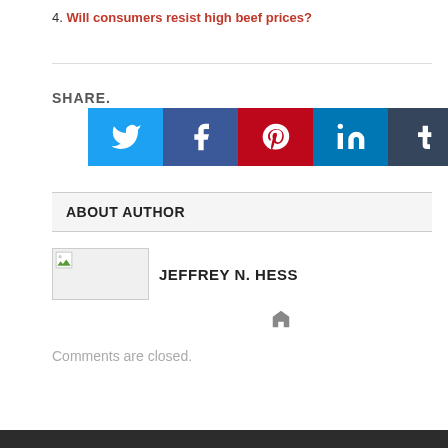4. Will consumers resist high beef prices?
SHARE.
[Figure (infographic): Social media share buttons: Twitter (blue), Facebook (dark blue), Pinterest (red), LinkedIn (teal), Tumblr (dark blue-gray), Email (dark navy)]
ABOUT AUTHOR
[Figure (photo): Author photo placeholder for Jeffrey N. Hess]
JEFFREY N. HESS
Comments are closed.